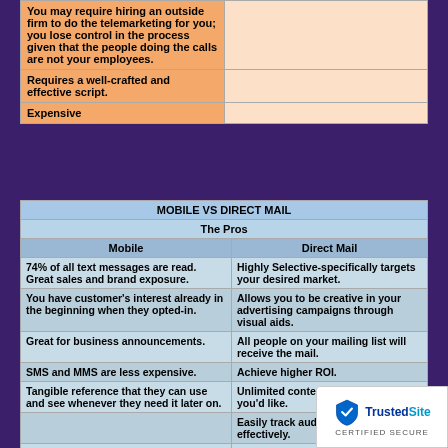|  |  |
| --- | --- |
| You may require hiring an outside firm to do the telemarketing for you; you lose control in the process given that the people doing the calls are not your employees. |  |
| Requires a well-crafted and effective script. |  |
| Expensive |  |
| MOBILE VS DIRECT MAIL |  |
| --- | --- |
| The Pros |  |
| Mobile | Direct Mail |
| 74% of all text messages are read. Great sales and brand exposure. | Highly Selective-specifically targets your desired market. |
| You have customer's interest already in the beginning when they opted-in. | Allows you to be creative in your advertising campaigns through visual aids. |
| Great for business announcements. | All people on your mailing list will receive the mail. |
| SMS and MMS are less expensive. | Achieve higher ROI. |
| Tangible reference that they can use and see whenever they need it later on. | Unlimited content; write a story if you'd like. |
|  | Easily track audience's response effectively. |
|  | Cost-effective. Your costs are controlled. |
|  | Full control in creative execution; full control stamp. |